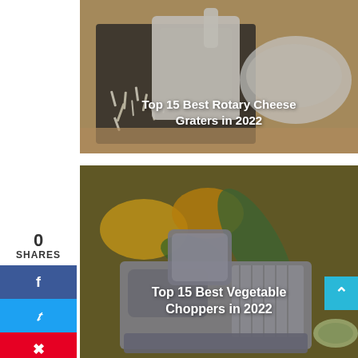0
SHARES
[Figure (illustration): Top 15 Best Rotary Cheese Graters in 2022 - article thumbnail showing rotary cheese grater with shredded cheese]
Top 15 Best Rotary Cheese Graters in 2022
[Figure (illustration): Top 15 Best Vegetable Choppers in 2022 - article thumbnail showing vegetable chopper with vegetables]
Top 15 Best Vegetable Choppers in 2022